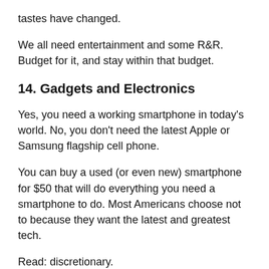tastes have changed.
We all need entertainment and some R&R. Budget for it, and stay within that budget.
14. Gadgets and Electronics
Yes, you need a working smartphone in today's world. No, you don't need the latest Apple or Samsung flagship cell phone.
You can buy a used (or even new) smartphone for $50 that will do everything you need a smartphone to do. Most Americans choose not to because they want the latest and greatest tech.
Read: discretionary.